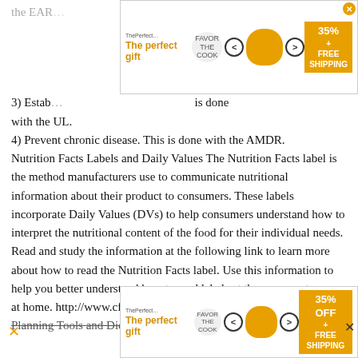the EAR…
3) Establish… is done with the UL.
4) Prevent chronic disease. This is done with the AMDR.
Nutrition Facts Labels and Daily Values The Nutrition Facts label is the method manufacturers use to communicate nutritional information about their product to consumers. These labels incorporate Daily Values (DVs) to help consumers understand how to interpret the nutritional content of the food for their individual needs. Read and study the information at the following link to learn more about how to read the Nutrition Facts label. Use this information to help you better understand how to read labels at the grocery store or at home. http://www.cfsan.fda.gov/~dms/foodlab.html Diet Planning Tools and Diet Quality Americans can use the
[Figure (screenshot): Top advertisement banner: 'The perfect gift' with bowl imagery, navigation arrows, and '35% + FREE SHIPPING' badge]
[Figure (screenshot): Bottom advertisement banner: 'The perfect gift' with bowl imagery, navigation arrows, and '35% OFF + FREE SHIPPING' badge]